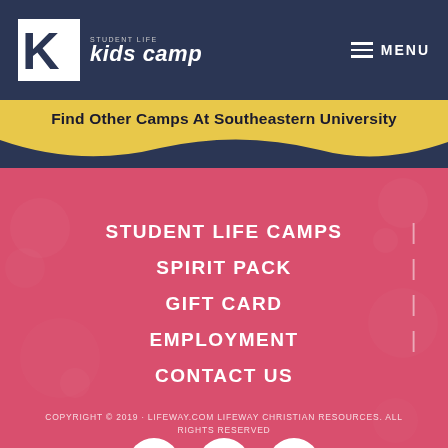[Figure (logo): Student Life Kids Camp logo with K lettermark and text on dark navy background with hamburger menu icon and MENU text]
Find Other Camps At Southeastern University
STUDENT LIFE CAMPS
SPIRIT PACK
GIFT CARD
EMPLOYMENT
CONTACT US
[Figure (illustration): Social media icons: Facebook, Instagram, YouTube in white circles on pink background]
COPYRIGHT © 2019 · LIFEWAY.COM LIFEWAY CHRISTIAN RESOURCES. ALL RIGHTS RESERVED